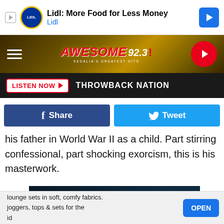[Figure (screenshot): Lidl advertisement banner: play icon, Lidl logo, text 'Lidl: More Food for Less Money / Lidl', navigation arrow icon]
[Figure (logo): Awesome 92.3 radio station header with hamburger menu, station logo, and red play button]
LISTEN NOW ▶   THROWBACK NATION
[Figure (screenshot): Facebook Share button and Twitter Tweet button]
his father in World War II as a child. Part stirring confessional, part shocking exorcism, this is his masterwork.
[Figure (photo): Black and white image of The Police band - text reads 'THE POLICE' over band members]
lounge sets in soft, comfy fabrics. joggers, tops & sets for the id